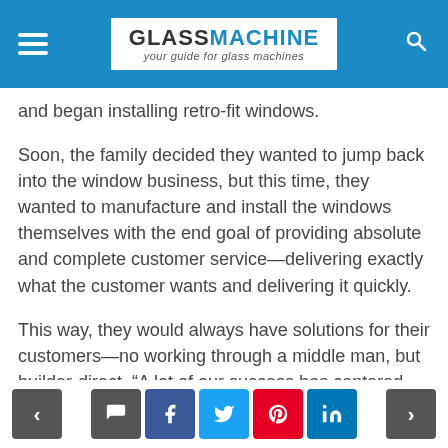GLASSMACHINE — your guide for glass machines
and began installing retro-fit windows.
Soon, the family decided they wanted to jump back into the window business, but this time, they wanted to manufacture and install the windows themselves with the end goal of providing absolute and complete customer service—delivering exactly what the customer wants and delivering it quickly.
This way, they would always have solutions for their customers—no working through a middle man, but builder-direct. “A lot of our success has centered around two things: Being able to respond quickly and the structure of our business as a privately-owned family company. We’re a phone call away, whether it’s the president of one of our big builder customers on
< [comment] [facebook] [twitter] [pinterest] [linkedin] >